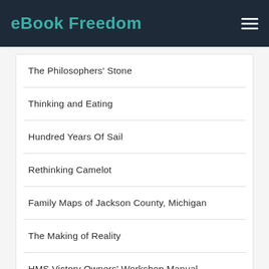eBook Freedom
The Philosophers' Stone
Thinking and Eating
Hundred Years Of Sail
Rethinking Camelot
Family Maps of Jackson County, Michigan
The Making of Reality
HMS Victory Owners' Workshop Manual